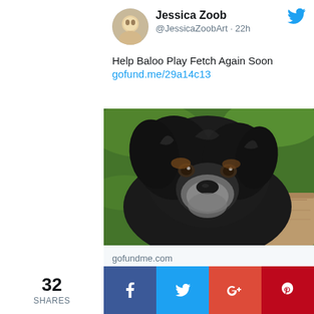Jessica Zoob @JessicaZoobArt · 22h
Help Baloo Play Fetch Again Soon gofund.me/29a14c13
[Figure (photo): Black and grey fluffy dog looking at camera, sitting on grass near a wooden surface]
gofundme.com
Help Baloo Play Fetch Again Soon, organized by Annie Attwell
32 SHARES
f
Twitter share button
G+
p